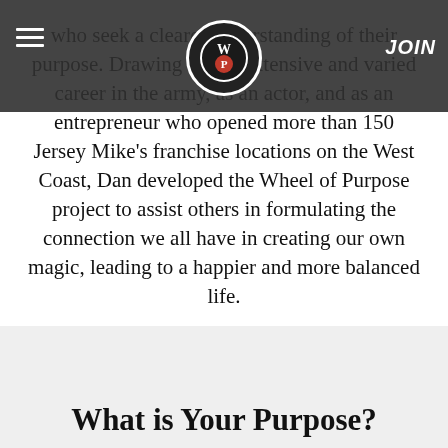WP logo, hamburger menu, JOIN
who seek a clearer understanding of their purpose. Drawing on his extensive and varied career in the army, as an actor, and as an entrepreneur who opened more than 150 Jersey Mike's franchise locations on the West Coast, Dan developed the Wheel of Purpose project to assist others in formulating the connection we all have in creating our own magic, leading to a happier and more balanced life.
What is Your Purpose?